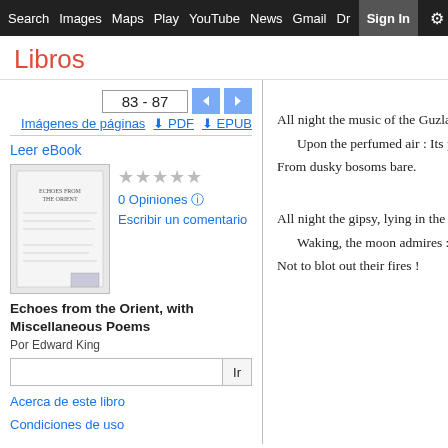Search  Images  Maps  Play  YouTube  News  Gmail  Drive  More  Sign in  ⚙
Libros
83 - 87
Imágenes de páginas  ↓ PDF  ↓ EPUB
Leer eBook
[Figure (photo): Book cover thumbnail for Echoes from the Orient, with Miscellaneous Poems]
★★★★★ 0 Opiniones ⓘ Escribir un comentario
Echoes from the Orient, with Miscellaneous Poems
Por Edward King
Ir
Acerca de este libro
Condiciones de uso
All night the music of the Guzla
    Upon the perfumed air : Its pl
From dusky bosoms bare.

All night the gipsy, lying in the
    Waking, the moon admires : A
Not to blot out their fires !